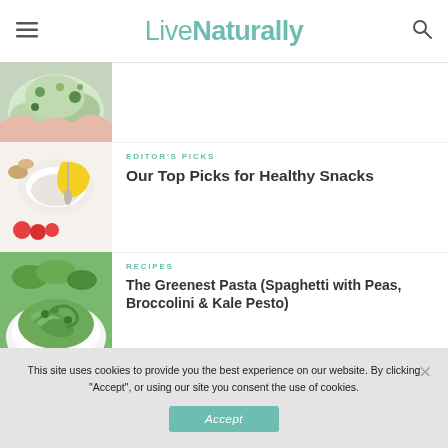LiveNaturally
[Figure (photo): Thumbnail of colorful salad/vegetables held in hands, partially cropped]
[Figure (photo): Thumbnail of healthy snack ingredients: yogurt, banana, tomatoes, nuts on white background]
EDITOR'S PICKS
Our Top Picks for Healthy Snacks
[Figure (photo): Thumbnail of green pasta in a white bowl with peas and broccolini]
RECIPES
The Greenest Pasta (Spaghetti with Peas, Broccolini & Kale Pesto)
[Figure (photo): Thumbnail of green vegetables, partially visible at bottom]
RECIPES
This site uses cookies to provide you the best experience on our website. By clicking "Accept", or using our site you consent the use of cookies.
Accept